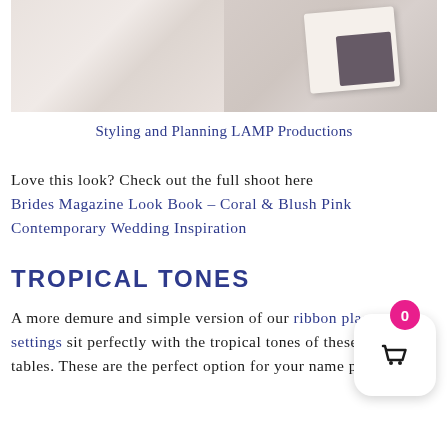[Figure (photo): Top portion of a photo showing a styled table setting with tiles in the background, a book or card with dark pattern visible on the right side]
Styling and Planning LAMP Productions
Love this look? Check out the full shoot here Brides Magazine Look Book – Coral & Blush Pink Contemporary Wedding Inspiration
TROPICAL TONES
A more demure and simple version of our ribbon place settings sit perfectly with the tropical tones of these tables. These are the perfect option for your name places.